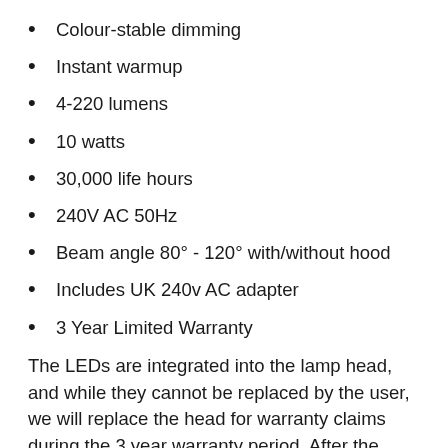Colour-stable dimming
Instant warmup
4-220 lumens
10 watts
30,000 life hours
240V AC 50Hz
Beam angle 80° - 120° with/without hood
Includes UK 240v AC adapter
3 Year Limited Warranty
The LEDs are integrated into the lamp head, and while they cannot be replaced by the user, we will replace the head for warranty claims during the 3 year warranty period. After the warranty expires, we will replace the